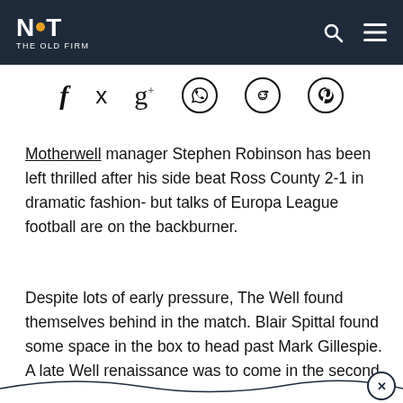NOT THE OLD FIRM
[Figure (other): Social media share icons: Facebook, Twitter, Google+, WhatsApp, Reddit, Pinterest]
Motherwell manager Stephen Robinson has been left thrilled after his side beat Ross County 2-1 in dramatic fashion- but talks of Europa League football are on the backburner.
Despite lots of early pressure, The Well found themselves behind in the match. Blair Spittal found some space in the box to head past Mark Gillespie. A late Well renaissance was to come in the second half.